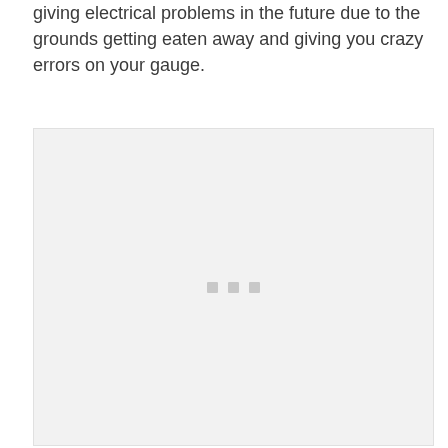giving electrical problems in the future due to the grounds getting eaten away and giving you crazy errors on your gauge.
[Figure (photo): A light gray placeholder image area with three small gray squares centered near the middle of the image, indicating a loading or redacted photo.]